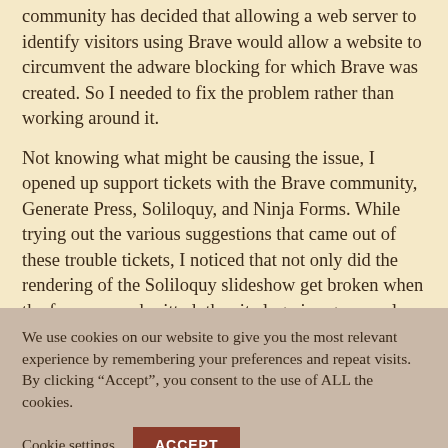community has decided that allowing a web server to identify visitors using Brave would allow a website to circumvent the adware blocking for which Brave was created. So I needed to fix the problem rather than working around it.
Not knowing what might be causing the issue, I opened up support tickets with the Brave community, Generate Press, Soliloquy, and Ninja Forms. While trying out the various suggestions that came out of these trouble tickets, I noticed that not only did the rendering of the Soliloquy slideshow get broken when the form was submitted, the site logo image was also not displaying properly. I decided to take Soliloquy out of the equation. I reverted the site to the old static homepage, and disabled the Soliloquy plugin. Sure enough, the problem was still evident without the slideshow.
We use cookies on our website to give you the most relevant experience by remembering your preferences and repeat visits. By clicking “Accept”, you consent to the use of ALL the cookies.